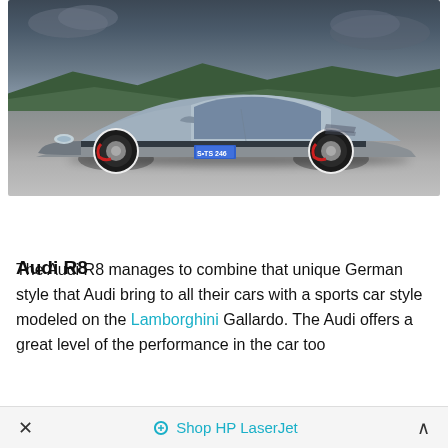[Figure (photo): Silver Mercedes-Benz SLR McLaren sports car with license plate S-TS 246, parked on a gravel surface with green hills and cloudy sky in the background]
Audi R8
The Audi R8 manages to combine that unique German style that Audi bring to all their cars with a sports car style modeled on the Lamborghini Gallardo. The Audi offers a great level of the performance in the car too
× Shop HP LaserJet ^